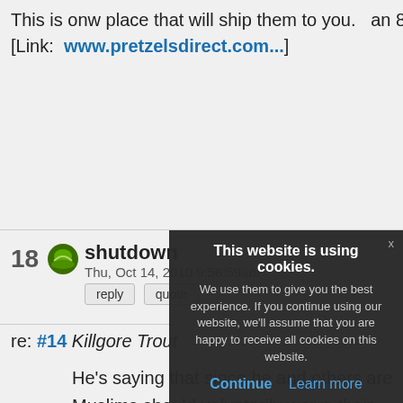This is onw place that will ship them to you. an 800 number. [Link: www.pretzelsdirect.com...]
18 shutdown Thu, Oct 14, 2010 9:58:59am reply quote
re: #14 Killgore Trout
He's saying that since he and others are Muslims should voluntarily waive their constitutional right to freedom of religion people find that of
[Figure (screenshot): Right sidebar navigation with logo, LGF Pages, Categories, Daily, Monthly, Twitter, Fun, Search, About links]
This website is using cookies. We use them to give you the best experience. If you continue using our website, we'll assume that you are happy to receive all cookies on this website. Continue Learn more